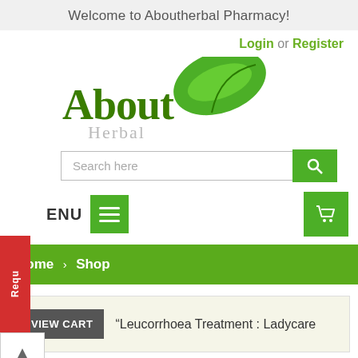Welcome to Aboutherbal Pharmacy!
Login or Register
[Figure (logo): Aboutherbal Pharmacy logo with green leaf and stylized text]
Search here
MENU
Home > Shop
VIEW CART
“Leucorrhoea Treatment : Ladycare